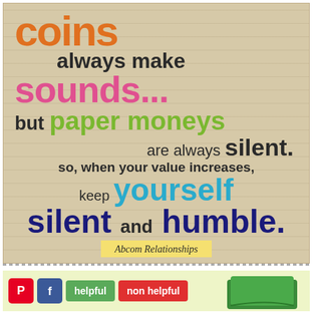[Figure (infographic): Motivational quote card on a tan/beige lined background. Text reads: 'coins always make sounds... but paper moneys are always silent. so, when your value increases, keep yourself silent and humble.' Attribution: Abcom Relationships]
helpful | non helpful